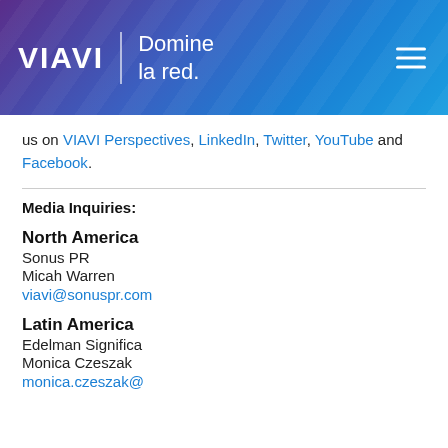[Figure (logo): VIAVI logo with 'Domine la red.' tagline on blue/purple gradient banner with hamburger menu icon]
us on VIAVI Perspectives, LinkedIn, Twitter, YouTube and Facebook.
Media Inquiries:
North America
Sonus PR
Micah Warren
viavi@sonuspr.com
Latin America
Edelman Significa
Monica Czeszak
monica.czeszak@